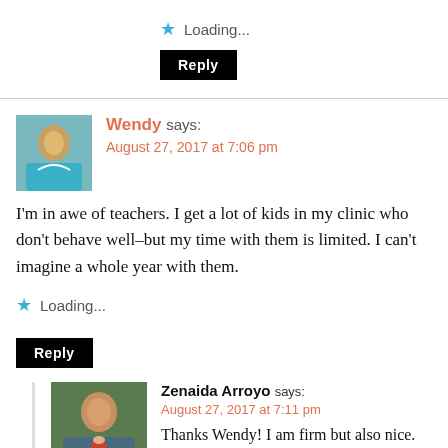Loading...
Reply
Wendy says: August 27, 2017 at 7:06 pm
I'm in awe of teachers. I get a lot of kids in my clinic who don't behave well–but my time with them is limited. I can't imagine a whole year with them.
Loading...
Reply
Zenaida Arroyo says: August 27, 2017 at 7:11 pm
Thanks Wendy! I am firm but also nice. These next few weeks are critical to establish rules